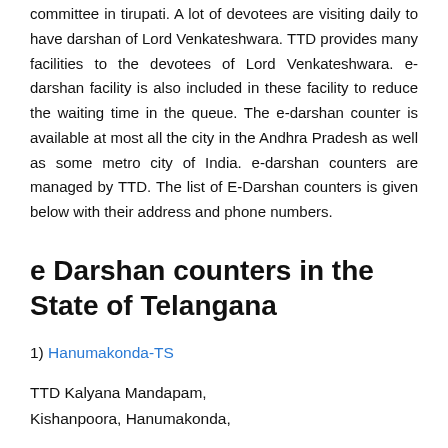committee in tirupati. A lot of devotees are visiting daily to have darshan of Lord Venkateshwara. TTD provides many facilities to the devotees of Lord Venkateshwara. e-darshan facility is also included in these facility to reduce the waiting time in the queue. The e-darshan counter is available at most all the city in the Andhra Pradesh as well as some metro city of India. e-darshan counters are managed by TTD. The list of E-Darshan counters is given below with their address and phone numbers.
e Darshan counters in the State of Telangana
1) Hanumakonda-TS
TTD Kalyana Mandapam,
Kishanpoora, Hanumakonda,